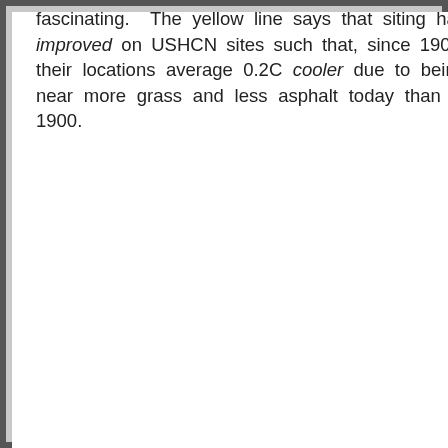fascinating. The yellow line says that siting has improved on USHCN sites such that, since 1900, their locations average 0.2C cooler due to being near more grass and less asphalt today than in 1900.
During this time, many sites were relocated from city locations to airports and from roof tops to grassy areas. This often